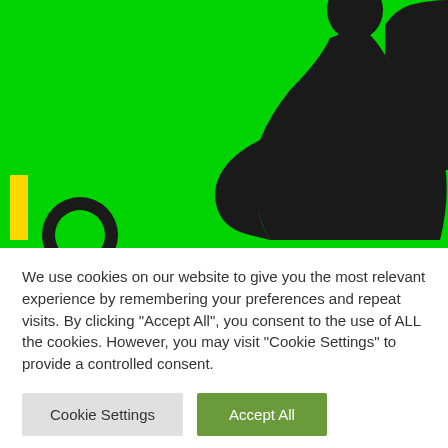[Figure (photo): A green background (bright green/chroma key green) with a large black silhouette of a person in the upper portion. Partial yellow and black logo elements visible in the lower left corner.]
We use cookies on our website to give you the most relevant experience by remembering your preferences and repeat visits. By clicking "Accept All", you consent to the use of ALL the cookies. However, you may visit "Cookie Settings" to provide a controlled consent.